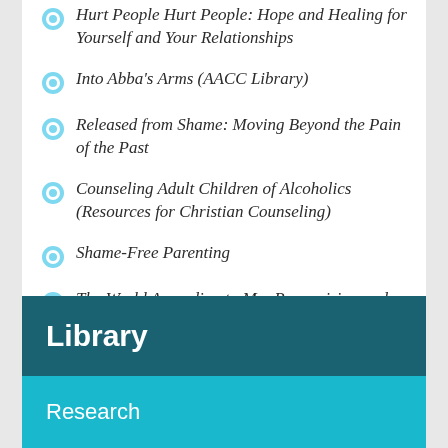Hurt People Hurt People: Hope and Healing for Yourself and Your Relationships
Into Abba's Arms (AACC Library)
Released from Shame: Moving Beyond the Pain of the Past
Counseling Adult Children of Alcoholics (Resources for Christian Counseling)
Shame-Free Parenting
The World According to Me: Recognizing and Releasing Our Illusions of Control
Library
Research